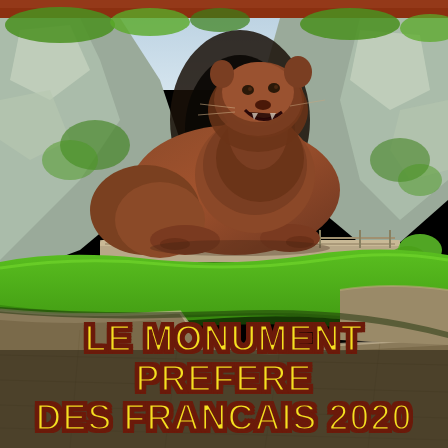[Figure (photo): A large stone lion sculpture (Lion of Belfort) carved into and placed against a rocky cliff face. The lion is reclining but raising its head with an open mouth. Below the sculpture is a green grassy embankment and a stone fortification wall. The sky is partly visible at the top. The scene is outdoors in daylight.]
LE MONUMENT PREFERE DES FRANCAIS 2020